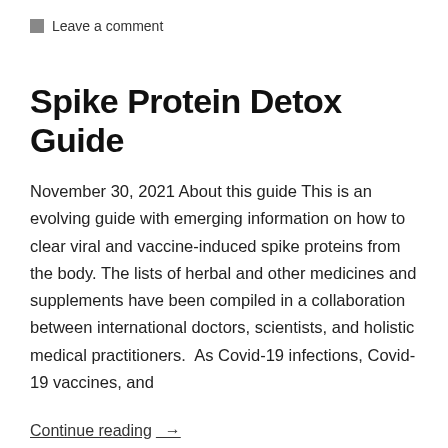Leave a comment
Spike Protein Detox Guide
November 30, 2021 About this guide This is an evolving guide with emerging information on how to clear viral and vaccine-induced spike proteins from the body. The lists of herbal and other medicines and supplements have been compiled in a collaboration between international doctors, scientists, and holistic medical practitioners.  As Covid-19 infections, Covid-19 vaccines, and
Continue reading →